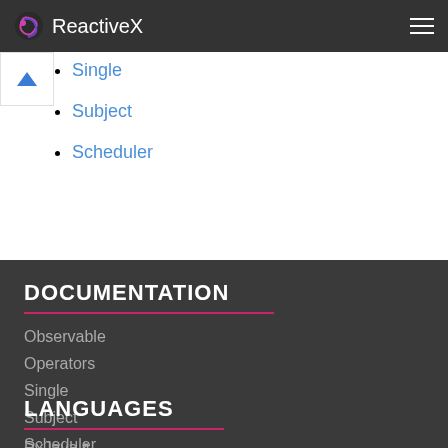ReactiveX
Single
Subject
Scheduler
DOCUMENTATION
Observable
Operators
Single
Subject
Scheduler
LANGUAGES
RxJava